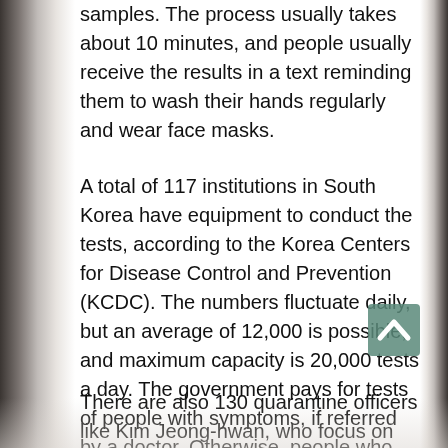samples. The process usually takes about 10 minutes, and people usually receive the results in a text reminding them to wash their hands regularly and wear face masks.
A total of 117 institutions in South Korea have equipment to conduct the tests, according to the Korea Centers for Disease Control and Prevention (KCDC). The numbers fluctuate daily, but an average of 12,000 is possible, and maximum capacity is 20,000 tests a day. The government pays for tests of people with symptoms, if referred by a doctor. Otherwise, people who want to be tested can pay up to 170,000 won ($140), said an official at a company called Seegene Inc, which supplies 80% of the country's kits and says it can test 96 samples at once.
There are also 130 quarantine officers like Kim Jeong-hwan, who focus on minute details to track potential patients. The 28-year-old public health doctor spends